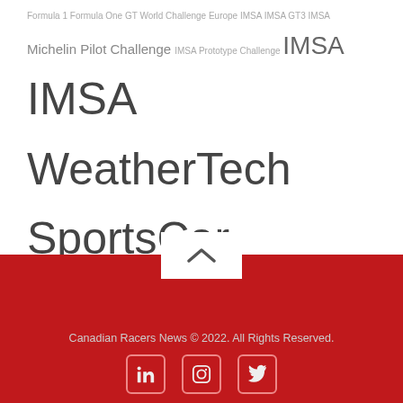Formula 1 Formula One GT World Challenge Europe IMSA IMSA GT3 IMSA Michelin Pilot Challenge IMSA Prototype Challenge IMSA WeatherTech SportsCar Championship International GT Open Series James Vance Kuno Wittmer Kyle Marcelli Lamborghini Huracán GT3 EVO Lance Stroll Lars Kern Latest News Laurens Vanthoor Mark Wilkins Mercedes AMG GT3 Mikaël Grenier Mobil 1 Twelve Hours of Sebring Nicolas Latifi Orey Fidani Pfaff Motorsports Racing Point F1 Roar before the Rolex24 Rolex 24 at Daytona Roman De Angelis Scott Hargrove Sebring International Raceway SportPesa Racing Point F1 SunEnergy1 Racing SunEnergy 1 Racing The Heart of Racing Zach Robichon
Canadian Racers News © 2022. All Rights Reserved.